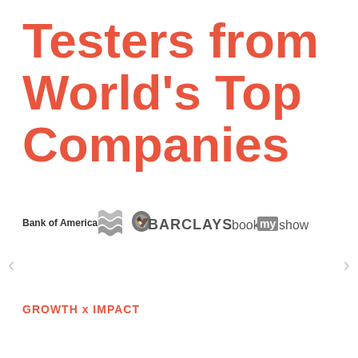Testers from World's Top Companies
[Figure (logo): Logos of Bank of America, Barclays, and BookMyShow displayed in a horizontal row]
GROWTH x IMPACT
...